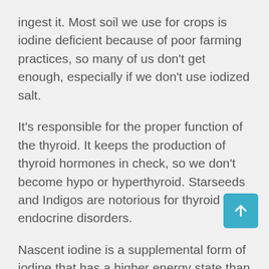ingest it. Most soil we use for crops is iodine deficient because of poor farming practices, so many of us don't get enough, especially if we don't use iodized salt.
It's responsible for the proper function of the thyroid. It keeps the production of thyroid hormones in check, so we don't become hypo or hyperthyroid. Starseeds and Indigos are notorious for thyroid and endocrine disorders.
Nascent iodine is a supplemental form of iodine that has a higher energy state than other forms because it's atomic. It's negatively charged ions suspended in a solution are more readily absorbed by the body, making it a more efficient form of